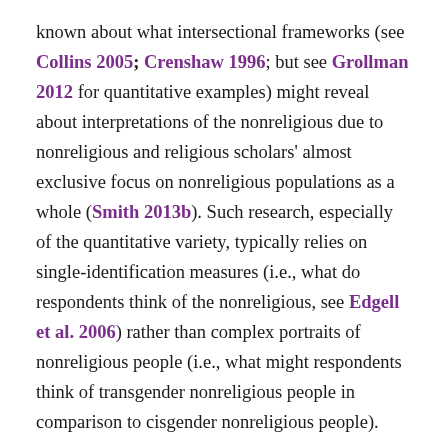known about what intersectional frameworks (see Collins 2005; Crenshaw 1996; but see Grollman 2012 for quantitative examples) might reveal about interpretations of the nonreligious due to nonreligious and religious scholars' almost exclusive focus on nonreligious populations as a whole (Smith 2013b). Such research, especially of the quantitative variety, typically relies on single-identification measures (i.e., what do respondents think of the nonreligious, see Edgell et al. 2006) rather than complex portraits of nonreligious people (i.e., what might respondents think of transgender nonreligious people in comparison to cisgender nonreligious people).
The present article uses data from the first survey